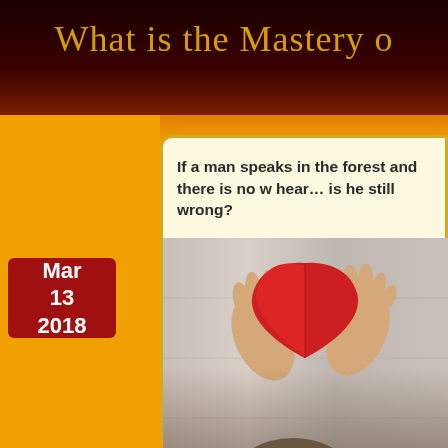What is the Mastery o
If a man speaks in the forest and there is no w hear… is he still wrong?
Mar 13 2018
[Figure (photo): Child lying on wooden floor holding up a large red paper heart with both hands raised, viewed from above. Child has light hair and wears a green shirt.]